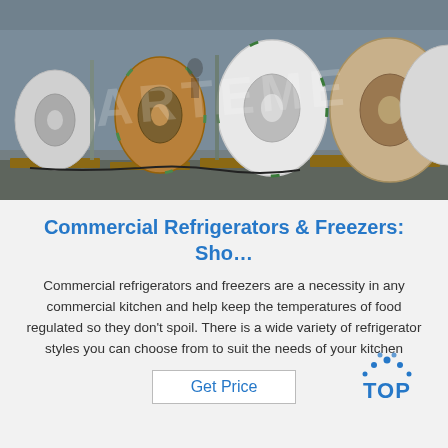[Figure (photo): Warehouse interior showing multiple large rolled steel coils standing upright on wooden pallets. Some coils are wrapped in white or brown paper/cardboard. A watermark reading 'ARTEME' is overlaid on the image.]
Commercial Refrigerators & Freezers: Sho...
Commercial refrigerators and freezers are a necessity in any commercial kitchen and help keep the temperatures of food regulated so they don't spoil. There is a wide variety of refrigerator styles you can choose from to suit the needs of your kitchen
[Figure (logo): TOP badge logo with blue dotted arc above the word TOP in bold blue letters]
Get Price